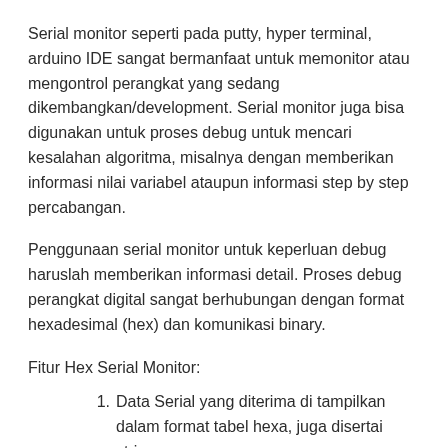Serial monitor seperti pada putty, hyper terminal, arduino IDE sangat bermanfaat untuk memonitor atau mengontrol perangkat yang sedang dikembangkan/development. Serial monitor juga bisa digunakan untuk proses debug untuk mencari kesalahan algoritma, misalnya dengan memberikan informasi nilai variabel ataupun informasi step by step percabangan.
Penggunaan serial monitor untuk keperluan debug haruslah memberikan informasi detail. Proses debug perangkat digital sangat berhubungan dengan format hexadesimal (hex) dan komunikasi binary.
Fitur Hex Serial Monitor:
Data Serial yang diterima di tampilkan dalam format tabel hexa, juga disertai string.
Baris baru dengan pilihan 0x00 dan 0x0A